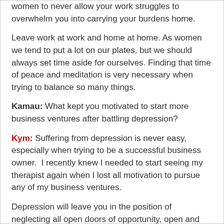women to never allow your work struggles to overwhelm you into carrying your burdens home.
Leave work at work and home at home. As women we tend to put a lot on our plates, but we should always set time aside for ourselves. Finding that time of peace and meditation is very necessary when trying to balance so many things.
Kamau: What kept you motivated to start more business ventures after battling depression?
Kym: Suffering from depression is never easy, especially when trying to be a successful business owner.  I recently knew I needed to start seeing my therapist again when I lost all motivation to pursue any of my business ventures.
Depression will leave you in the position of neglecting all open doors of opportunity, open and unattended to. There is nothing more paralyzing then seeing opportunities fall in your lap and being numb to pursuing them.